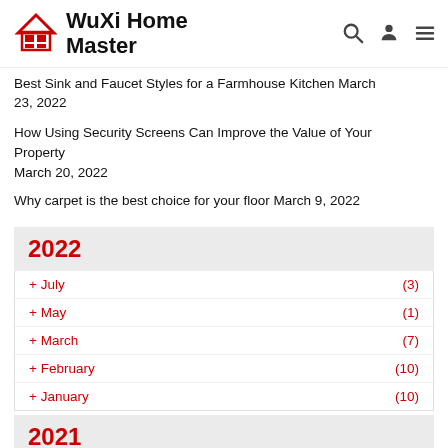WuXi Home Master
Best Sink and Faucet Styles for a Farmhouse Kitchen March 23, 2022
How Using Security Screens Can Improve the Value of Your Property March 20, 2022
Why carpet is the best choice for your floor March 9, 2022
2022
+ July (3)
+ May (1)
+ March (7)
+ February (10)
+ January (10)
2021